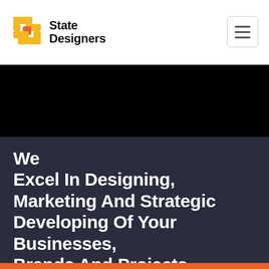[Figure (logo): State Designers logo with stylized S icon in yellow/orange and bold text 'State Designers']
We Excel In Designing, Marketing And Strategic Developing Of Your Businesses, Brands And Projects
ABOUT